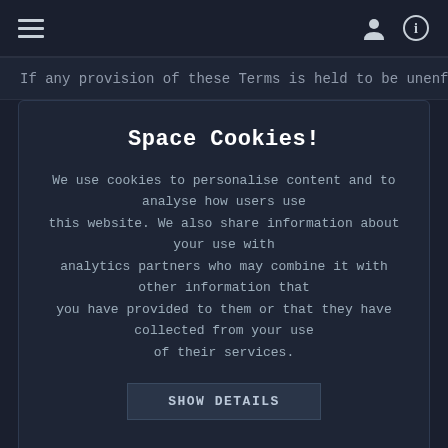≡  [person icon]  [info icon]
If any provision of these Terms is held to be unenforceable or
Space Cookies!
We use cookies to personalise content and to analyse how users use this website. We also share information about your use with analytics partners who may combine it with other information that you have provided to them or that they have collected from your use of their services.
SHOW DETAILS
Necessary   Analytics
ALLOW SELECTION   ALLOW ALL